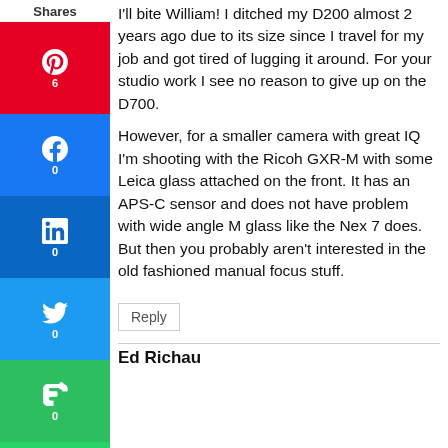I'll bite William! I ditched my D200 almost 2 years ago due to its size since I travel for my job and got tired of lugging it around. For your studio work I see no reason to give up on the D700.

However, for a smaller camera with great IQ I'm shooting with the Ricoh GXR-M with some Leica glass attached on the front. It has an APS-C sensor and does not have problem with wide angle M glass like the Nex 7 does. But then you probably aren't interested in the old fashioned manual focus stuff.
Reply
Ed Richau